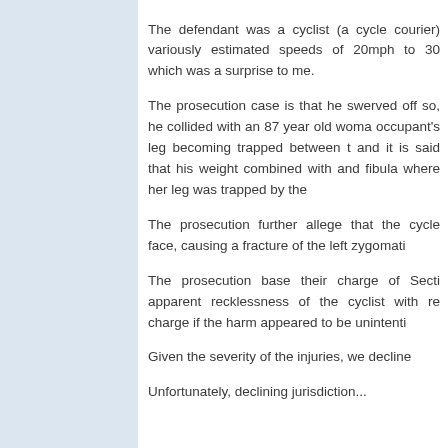The defendant was a cyclist (a cycle courier) variously estimated speeds of 20mph to 30mph which was a surprise to me.
The prosecution case is that he swerved off so, he collided with an 87 year old woman occupant's leg becoming trapped between the and it is said that his weight combined with and fibula where her leg was trapped by the
The prosecution further allege that the cycle face, causing a fracture of the left zygomatic
The prosecution base their charge of Sectio apparent recklessness of the cyclist with re charge if the harm appeared to be unintentio
Given the severity of the injuries, we decline
Unfortunately, declining jurisdiction...